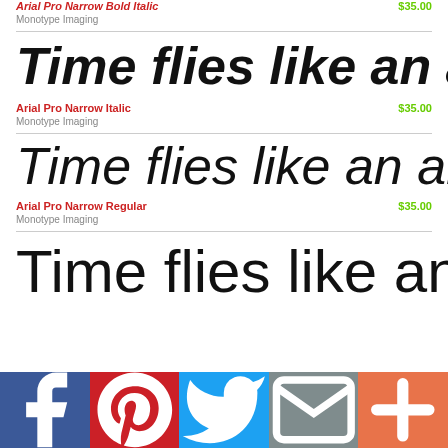Arial Pro Narrow Bold Italic   $35.00
Monotype Imaging
Time flies like an arrow,
Arial Pro Narrow Italic   $35.00
Monotype Imaging
Time flies like an arrow,
Arial Pro Narrow Regular   $35.00
Monotype Imaging
Time flies like an a
[Figure (infographic): Social sharing bar with Facebook, Pinterest, Twitter, email, and more buttons]